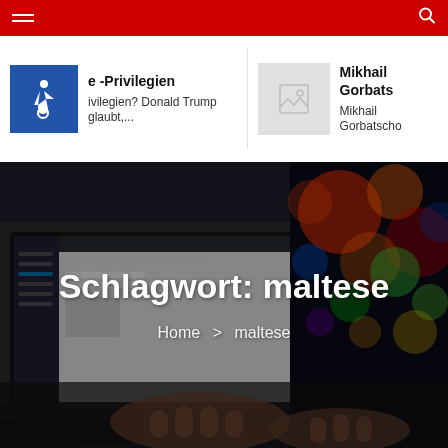Navigation bar with hamburger menu and search icon
e -Privilegien
Privilegien? Donald Trump glaubt,...
Mikhail Gorbats
Mikhail Gorbatscho
Schlagwort: maltese
Home > maltese